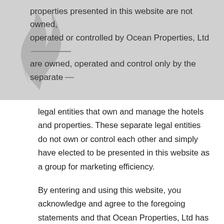properties presented in this website are not owned, operated or controlled by Ocean Properties, Ltd and are owned, operated and control only by the separate legal entities that own and manage the hotels and properties. These separate legal entities do not own or control each other and simply have elected to be presented in this website as a group for marketing efficiency.
By entering and using this website, you acknowledge and agree to the foregoing statements and that Ocean Properties, Ltd has no liability or responsibility for actions or activities occurring at any hotels or properties listed in this website, and unless specified does not own or control any of the hotels sharing this website.